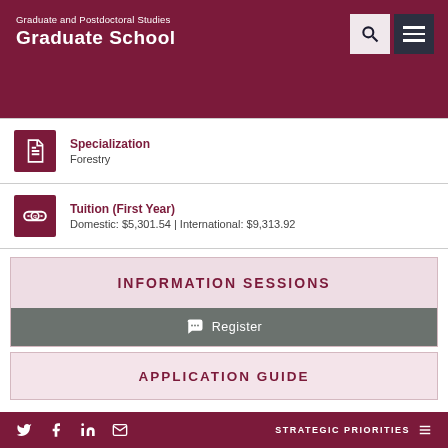Graduate and Postdoctoral Studies Graduate School
Specialization
Forestry
Tuition (First Year)
Domestic: $5,301.54 | International: $9,313.92
INFORMATION SESSIONS
Register
APPLICATION GUIDE
STRATEGIC PRIORITIES